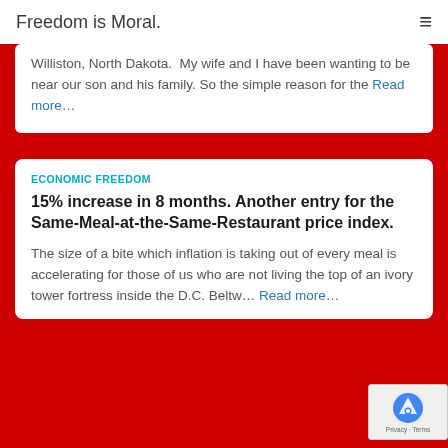Freedom is Moral.
Williston, North Dakota.  My wife and I have been wanting to be near our son and his family. So the simple reason for the Read more…
ECONOMIC FREEDOM
15% increase in 8 months. Another entry for the Same-Meal-at-the-Same-Restaurant price index.
The size of a bite which inflation is taking out of every meal is accelerating for those of us who are not living the top of an ivory tower fortress inside the D.C. Beltw… Read more…